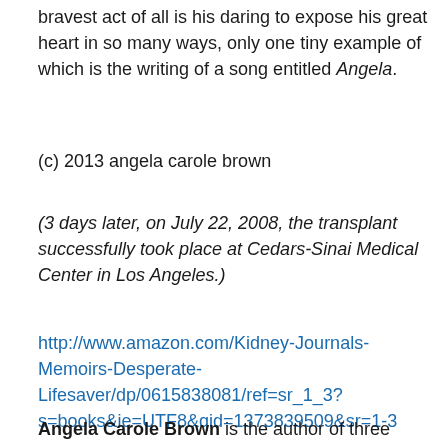bravest act of all is his daring to expose his great heart in so many ways, only one tiny example of which is the writing of a song entitled Angela.
(c) 2013 angela carole brown
(3 days later, on July 22, 2008, the transplant successfully took place at Cedars-Sinai Medical Center in Los Angeles.)
http://www.amazon.com/Kidney-Journals-Memoirs-Desperate-Lifesaver/dp/0615838081/ref=sr_1_3?s=books&ie=UTF8&qid=1373839509&sr=1-3
Angela Carole Brown is the author of three published